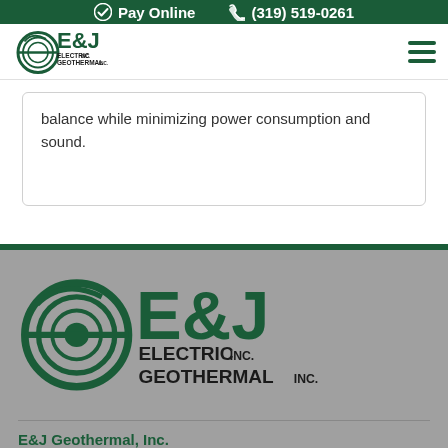Pay Online  (319) 519-0261
[Figure (logo): E&J Electric Inc. Geothermal Inc. company logo in header navigation bar]
balance while minimizing power consumption and sound.
[Figure (logo): E&J Electric Inc. Geothermal Inc. large company logo in footer area]
E&J Geothermal, Inc.